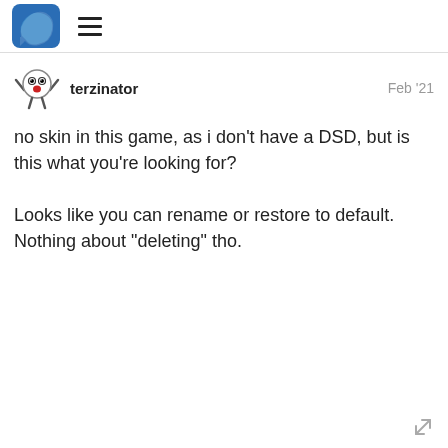Discourse forum header with logo and hamburger menu
terzinator   Feb '21
no skin in this game, as i don’t have a DSD, but is this what you’re looking for?

Looks like you can rename or restore to default. Nothing about “deleting” tho.